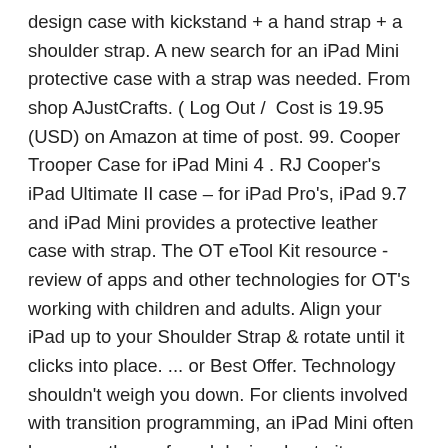design case with kickstand + a hand strap + a shoulder strap. A new search for an iPad Mini protective case with a strap was needed. From shop AJustCrafts. ( Log Out /  Cost is 19.95 (USD) on Amazon at time of post. 99. Cooper Trooper Case for iPad Mini 4 . RJ Cooper's iPad Ultimate II case – for iPad Pro's, iPad 9.7 and iPad Mini provides a protective leather case with strap. The OT eTool Kit resource - review of apps and other technologies for OT's working with children and adults. Align your iPad up to your Shoulder Strap & rotate until it clicks into place. ... or Best Offer. Technology shouldn't weigh you down. For clients involved with transition programming, an iPad Mini often becomes the preferred device due to its easy access and viewing of contents while offering portability. Attach this shoulder strap to your SafePort® Rugged Tablet case and throw it over your shoulder to carry your iPad® hands-free. With us, you will find different iPad case models: The classic covers are designed to resemble book covers and are extremely versatile.   United Kingdom   |   English (UK)   |   £ (GBP). remembering